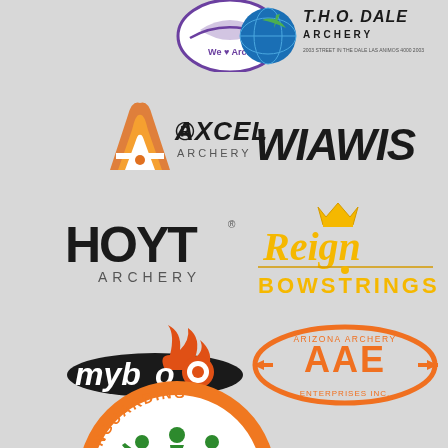[Figure (logo): We Love Archery logo - purple circular logo with archery text]
[Figure (logo): T.H.O. Dale Archery logo - blue globe with archery text]
[Figure (logo): Axcel Archery logo - orange flame/arrow letter A with AXCEL ARCHERY text]
[Figure (logo): WIAWIS logo - stylized italic text]
[Figure (logo): HOYT ARCHERY logo - bold black text]
[Figure (logo): Reign Bowstrings logo - gold script text with crown]
[Figure (logo): Mybo logo - black oval with flame and target]
[Figure (logo): AAE Arizona Archery Enterprises Inc logo - orange oval badge]
[Figure (logo): Sunguarding Sport logo - circular orange badge with athletes and shield]